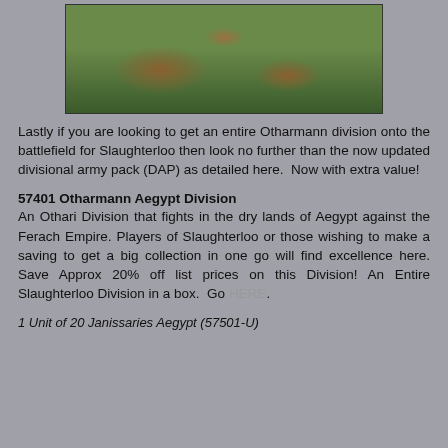[Figure (photo): Photograph of painted miniature wargaming figures (Otharmann / Ottoman-style infantry) based on green terrain boards, multiple units arranged on a battlefield.]
Lastly if you are looking to get an entire Otharmann division onto the battlefield for Slaughterloo then look no further than the now updated divisional army pack (DAP) as detailed here.  Now with extra value!
57401 Otharmann Aegypt Division
An Othari Division that fights in the dry lands of Aegypt against the Ferach Empire. Players of Slaughterloo or those wishing to make a saving to get a big collection in one go will find excellence here. Save Approx 20% off list prices on this Division! An Entire Slaughterloo Division in a box.  Go HERE.
1 Unit of 20 Janissaries Aegypt (57501-U)